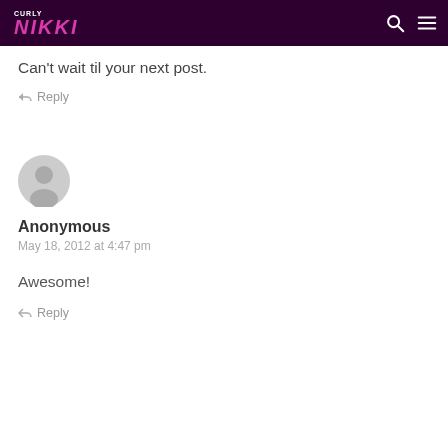Curly Nikki
Can't wait til your next post.
↳ Reply
[Figure (illustration): Gray circle avatar placeholder icon for Anonymous commenter]
Anonymous
May 18, 2012 at 4:47 pm
Awesome!
↳ Reply